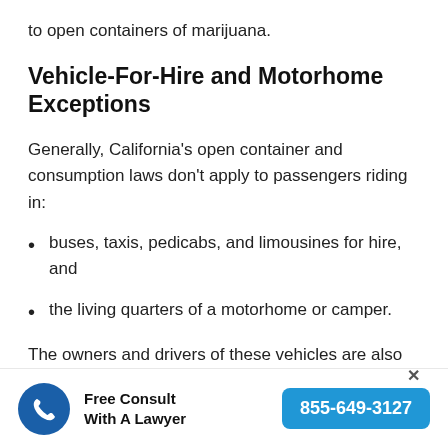to open containers of marijuana.
Vehicle-For-Hire and Motorhome Exceptions
Generally, California's open container and consumption laws don't apply to passengers riding in:
buses, taxis, pedicabs, and limousines for hire, and
the living quarters of a motorhome or camper.
The owners and drivers of these vehicles are also
Free Consult With A Lawyer
855-649-3127